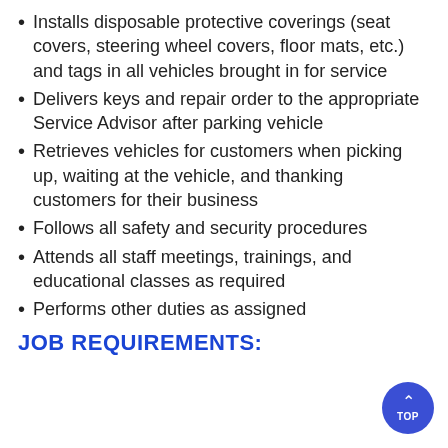Installs disposable protective coverings (seat covers, steering wheel covers, floor mats, etc.) and tags in all vehicles brought in for service
Delivers keys and repair order to the appropriate Service Advisor after parking vehicle
Retrieves vehicles for customers when picking up, waiting at the vehicle, and thanking customers for their business
Follows all safety and security procedures
Attends all staff meetings, trainings, and educational classes as required
Performs other duties as assigned
JOB REQUIREMENTS: